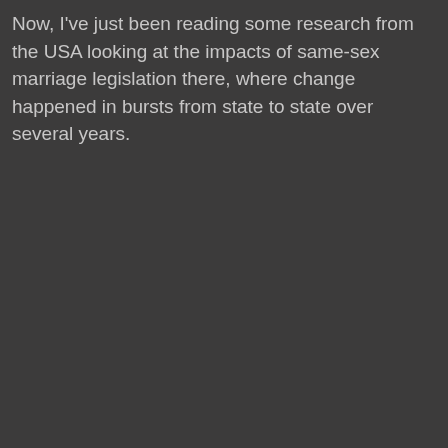Now, I've just been reading some research from the USA looking at the impacts of same-sex marriage legislation there, where change happened in bursts from state to state over several years.